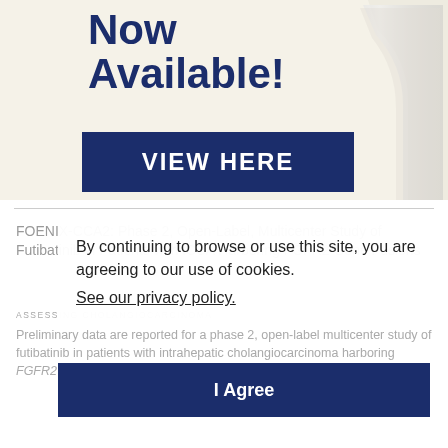[Figure (illustration): Advertisement banner with 'Now Available!' text in dark navy blue and a VIEW HERE button, with a pill bottle illustration on the right, on a cream/beige background.]
FOENIX-CCA2: Phase 2, Open-Label, Multicenter Study of Futibatinib in Patients with iCCA Harboring FGFR2 Gene Fusions
ASSESSING CHOLANGIOCARCINOMA
Preliminary data are reported for a phase 2, open-label multicenter study of futibatinib in patients with intrahepatic cholangiocarcinoma harboring FGFR2 gene fusions or other rearrangements. READ MORE >
By continuing to browse or use this site, you are agreeing to our use of cookies. See our privacy policy.
I Agree